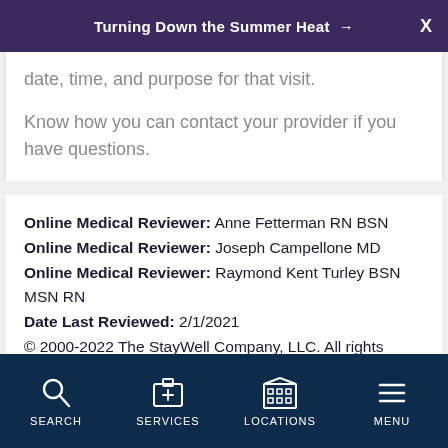Turning Down the Summer Heat →
date, time, and purpose for that visit.
Know how you can contact your provider if you have questions.
Online Medical Reviewer: Anne Fetterman RN BSN
Online Medical Reviewer: Joseph Campellone MD
Online Medical Reviewer: Raymond Kent Turley BSN MSN RN
Date Last Reviewed: 2/1/2021
© 2000-2022 The StayWell Company, LLC. All rights
SEARCH  SERVICES  LOCATIONS  MENU